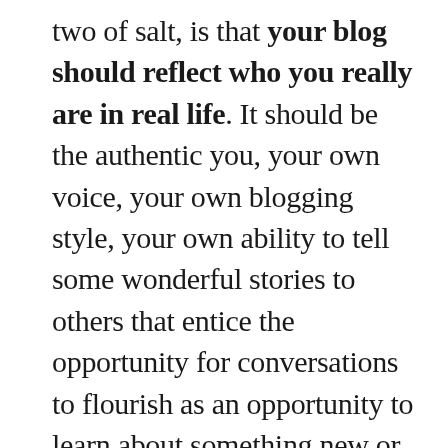two of salt, is that your blog should reflect who you really are in real life. It should be the authentic you, your own voice, your own blogging style, your own ability to tell some wonderful stories to others that entice the opportunity for conversations to flourish as an opportunity to learn about something new or reflect further along on something that's been in your mind for a good while and that you would want to share openly out there with others. Anything else is a